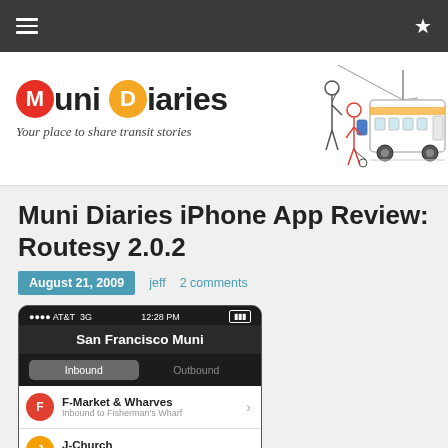≡  ★
[Figure (logo): Muni Diaries logo with red M circle, orange D circle, and trolley bus illustration. Tagline: Your place to share transit stories]
Muni Diaries iPhone App Review: Routesy 2.0.2
August 21, 2009  jeff  2 comments
[Figure (screenshot): iPhone screenshot showing San Francisco Muni app with Inbound/Outbound toggle and route list: F-Market & Wharves (Inbound to Fisherman's Wharf), J-Church (Inbound to Embarcadero Station), KT-Ingleside/Third Street (Inbound to Sunnydale & Bayshore)]